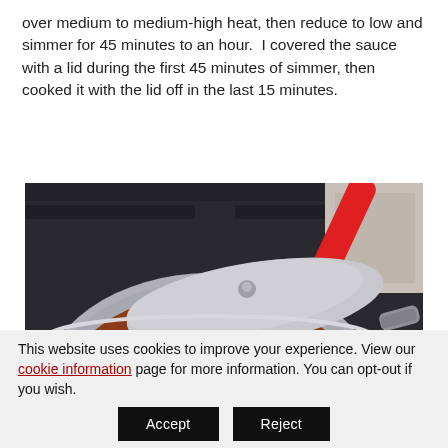over medium to medium-high heat, then reduce to low and simmer for 45 minutes to an hour.  I covered the sauce with a lid during the first 45 minutes of simmer, then cooked it with the lid off in the last 15 minutes.
[Figure (photo): A stainless steel pot with a lid ajar, containing a red tomato sauce with a white onion half and a red silicone spatula, sitting on a dark gas stove grate.]
This website uses cookies to improve your experience. View our cookie information page for more information. You can opt-out if you wish.